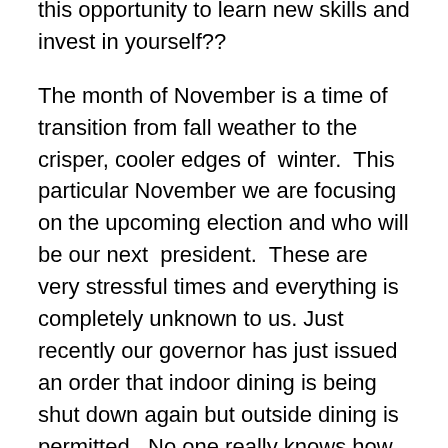this opportunity to learn new skills and invest in yourself??

The month of November is a time of transition from fall weather to the crisper, cooler edges of  winter.  This particular November we are focusing on the upcoming election and who will be our next  president.  These are very stressful times and everything is completely unknown to us. Just recently our governor has just issued an order that indoor dining is being shut down again but outside dining is permitted.  No one really knows how long we will be under these new restrictions and all of these factors can be stress inducing.  For all the above reasons now is the time when we should all be focusing on wellness and learning how to properly cope with stress.  Overeating, drinking alcohol and couch surfing is not the answer.  Everyone should be trying to get more sleep, eat nutrient dense foods, get in more exercise and receive more